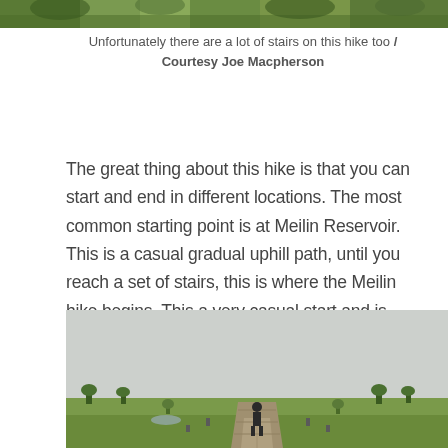[Figure (photo): Top strip of a photo showing greenery and trees on a hike trail]
Unfortunately there are a lot of stairs on this hike too / Courtesy Joe Macpherson
The great thing about this hike is that you can start and end in different locations. The most common starting point is at Meilin Reservoir. This is a casual gradual uphill path, until you reach a set of stairs, this is where the Meilin hike begins. This a very casual start and is usually the busiest part of the hike with many people buzzing around.
[Figure (photo): A person walking along a paved brick path through a wide green grassy area with small trees, under an overcast grey sky]